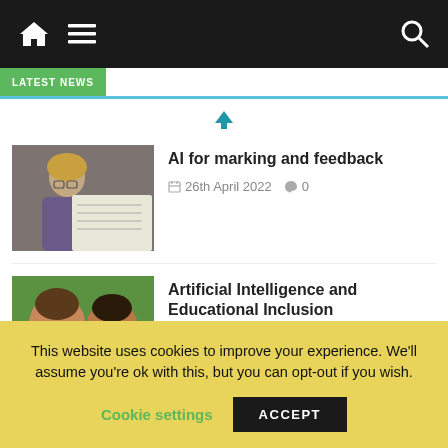Navigation bar with home icon, menu icon, and search icon
LATEST NEWS
[Figure (other): Blue upward arrow navigation icon]
[Figure (photo): Student writing at desk, viewed from behind, wearing glasses]
AI for marking and feedback
26th April 2022   0
[Figure (photo): Two children smiling, with IV International BIMODAL Congress on Social and Educational Inclusion overlay]
Artificial Intelligence and Educational Inclusion
21st April 2022   0
[Figure (other): Blue downward arrow navigation icon]
This website uses cookies to improve your experience. We'll assume you're ok with this, but you can opt-out if you wish.
Cookie settings   ACCEPT